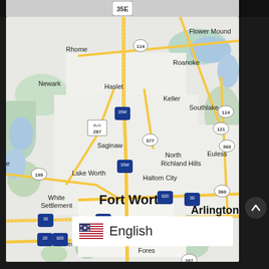[Figure (map): Google Maps style road map showing Fort Worth, Texas area including surrounding cities: Rhome, Newark, Flower Mound, Roanoke, Haslet, Keller, Southlake, Saginaw, North Richland Hills, Euless, Lake Worth, Haltom City, White Settlement, Fort Worth, Arlington, Benbrook, Forest. Major highways shown: 35E, 35W, 114, 287, 199, 377, 121, 360, 820, 30, 20.]
[Figure (infographic): Language selector overlay showing US flag icon and text 'English' on white background]